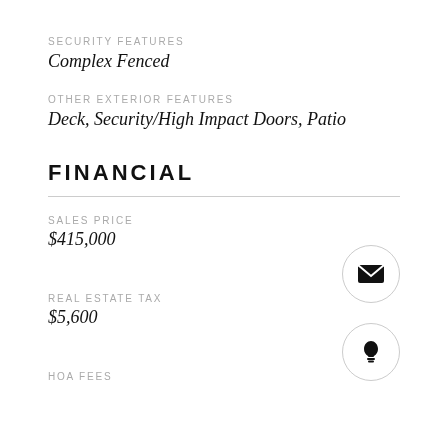SECURITY FEATURES
Complex Fenced
OTHER EXTERIOR FEATURES
Deck, Security/High Impact Doors, Patio
FINANCIAL
SALES PRICE
$415,000
REAL ESTATE TAX
$5,600
HOA FEES